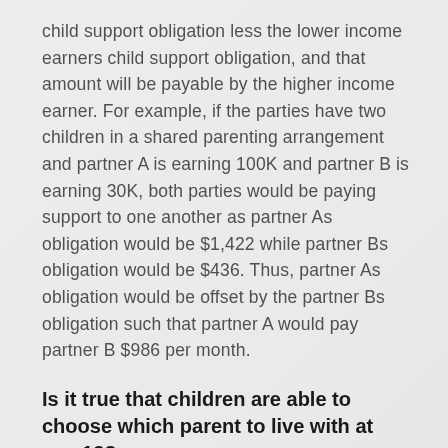child support obligation less the lower income earners child support obligation, and that amount will be payable by the higher income earner. For example, if the parties have two children in a shared parenting arrangement and partner A is earning 100K and partner B is earning 30K, both parties would be paying support to one another as partner As obligation would be $1,422 while partner Bs obligation would be $436. Thus, partner As obligation would be offset by the partner Bs obligation such that partner A would pay partner B $986 per month.
Is it true that children are able to choose which parent to live with at age 12?